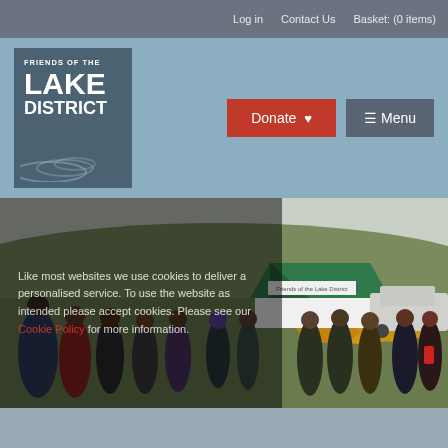Log in   Contact Us   Basket: (0 items)
[Figure (logo): Friends of the Lake District logo - dark teal/grey box with white text and wave/hill swirl graphic]
Donate
Menu
[Figure (photo): Outdoor photo showing a group of people standing in a field around a green and white marquee tent labeled 'Friends of the Lake District', with rolling green hills and gorse bushes in the background]
Like most websites we use cookies to deliver a personalised service. To use the website as intended please accept cookies. Please see our Cookie Policy for more information.
Accept Cookies
We've met the Fell Ponies!